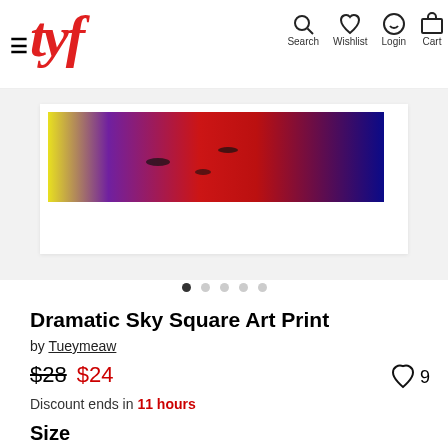Navigation header with logo, Search, Wishlist, Login, Cart
[Figure (photo): Dramatic sky art print showing colorful abstract sky with yellow, purple, red and blue tones in a white frame]
Dramatic Sky Square Art Print
by Tueymeaw
$28 $24 ♡ 9
Discount ends in 11 hours
Size
12" x 12" (selected)
20" x 20"
28" x 28"